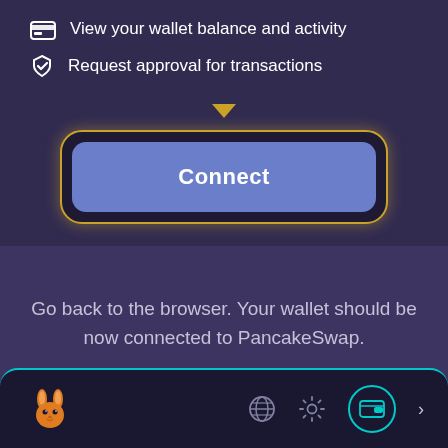View your wallet balance and activity
Request approval for transactions
[Figure (screenshot): Connect button with golden glowing border on dark background, with downward arrow above it]
Go back to the browser. Your wallet should be now connected to PancakeSwap.
[Figure (screenshot): Bottom navigation bar with PancakeSwap rabbit logo, globe icon, settings gear icon, wallet icon with teal circle, and chevron]